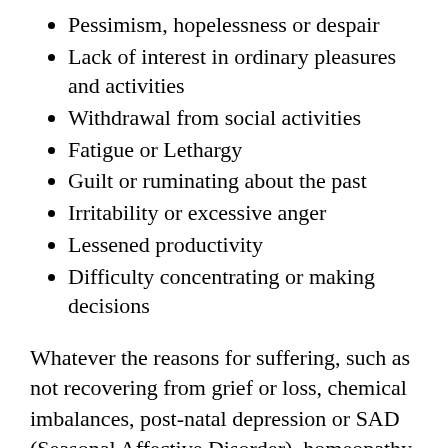Pessimism, hopelessness or despair
Lack of interest in ordinary pleasures and activities
Withdrawal from social activities
Fatigue or Lethargy
Guilt or ruminating about the past
Irritability or excessive anger
Lessened productivity
Difficulty concentrating or making decisions
Whatever the reasons for suffering, such as not recovering from grief or loss, chemical imbalances, post-natal depression or SAD (Seasonal Affective Disorder), homeopathy can reduce the severity of the symptoms in conjunction with lifestyle and dietary changes